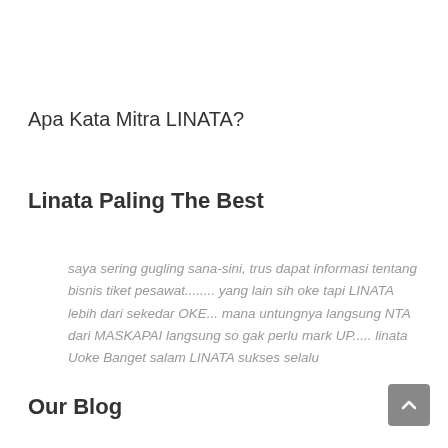Apa Kata Mitra LINATA?
Linata Paling The Best
saya sering gugling sana-sini, trus dapat informasi tentang bisnis tiket pesawat........ yang lain sih oke tapi LINATA lebih dari sekedar OKE... mana untungnya langsung NTA dari MASKAPAI langsung so gak perlu mark UP..... linata Uoke Banget salam LINATA sukses selalu
Our Blog